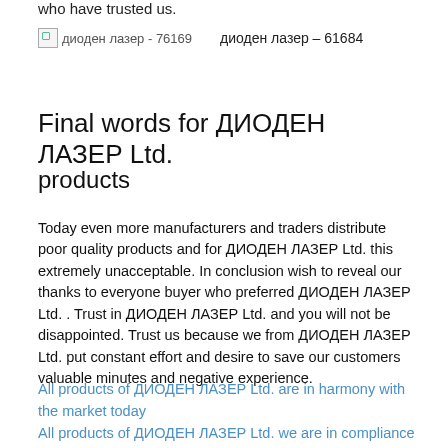who have trusted us.
[Figure (photo): Broken image placeholder labeled 'диоден лазер - 76169' alongside text 'диоден лазер – 61684']
Final words for ДИОДЕН ЛАЗЕР Ltd.
products
Today even more manufacturers and traders distribute poor quality products and for ДИОДЕН ЛАЗЕР Ltd. this extremely unacceptable. In conclusion wish to reveal our thanks to everyone buyer who preferred ДИОДЕН ЛАЗЕР Ltd. . Trust in ДИОДЕН ЛАЗЕР Ltd. and you will not be disappointed. Trust us because we from ДИОДЕН ЛАЗЕР Ltd. put constant effort and desire to save our customers valuable minutes and negative experience.
All products of ДИОДЕН ЛАЗЕР Ltd. are in harmony with the market today
All products of ДИОДЕН ЛАЗЕР Ltd. we are in compliance with dynamism in the market